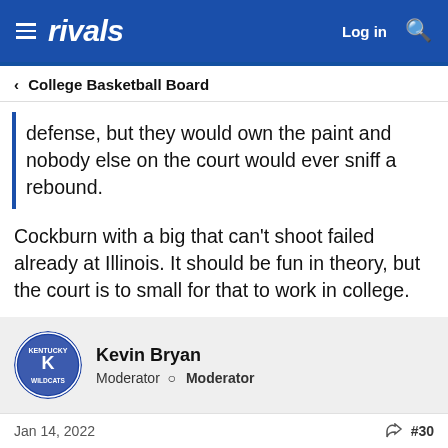rivals — Log in
< College Basketball Board
defense, but they would own the paint and nobody else on the court would ever sniff a rebound.
Cockburn with a big that can't shoot failed already at Illinois. It should be fun in theory, but the court is to small for that to work in college.
Kevin Bryan
Moderator  Moderator
Jan 14, 2022  #30
Jaycg15 said: